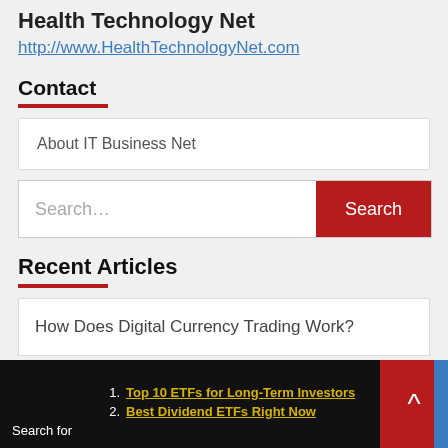Health Technology Net
http://www.HealthTechnologyNet.com
Contact
About IT Business Net
Search...
Recent Articles
How Does Digital Currency Trading Work?
1. Top 10 ETFs for Long-Term Investors
2. Best Dividend ETFs Right Now
Search for